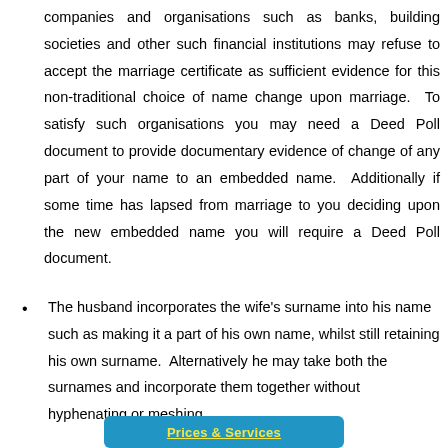companies and organisations such as banks, building societies and other such financial institutions may refuse to accept the marriage certificate as sufficient evidence for this non-traditional choice of name change upon marriage. To satisfy such organisations you may need a Deed Poll document to provide documentary evidence of change of any part of your name to an embedded name. Additionally if some time has lapsed from marriage to you deciding upon the new embedded name you will require a Deed Poll document.
The husband incorporates the wife's surname into his name such as making it a part of his own name, whilst still retaining his own surname. Alternatively he may take both the surnames and incorporate them together without hyphenating or meshing.
Prices & Services